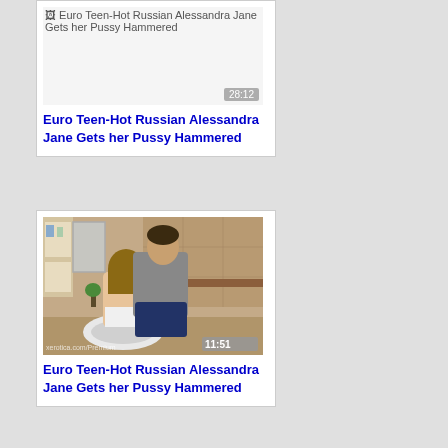[Figure (photo): Broken thumbnail image placeholder for Euro Teen-Hot Russian Alessandra Jane Gets her Pussy Hammered, with duration badge 28:12]
Euro Teen-Hot Russian Alessandra Jane Gets her Pussy Hammered
[Figure (photo): Video thumbnail showing two people in a bathroom setting, duration badge 11:51]
Euro Teen-Hot Russian Alessandra Jane Gets her Pussy Hammered